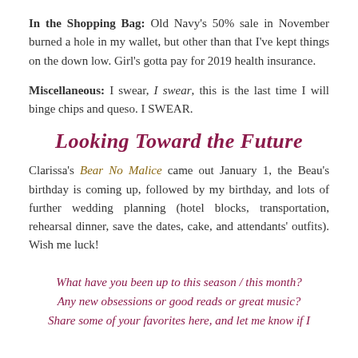In the Shopping Bag: Old Navy's 50% sale in November burned a hole in my wallet, but other than that I've kept things on the down low. Girl's gotta pay for 2019 health insurance.
Miscellaneous: I swear, I swear, this is the last time I will binge chips and queso. I SWEAR.
Looking Toward the Future
Clarissa's Bear No Malice came out January 1, the Beau's birthday is coming up, followed by my birthday, and lots of further wedding planning (hotel blocks, transportation, rehearsal dinner, save the dates, cake, and attendants' outfits). Wish me luck!
What have you been up to this season / this month? Any new obsessions or good reads or great music? Share some of your favorites here, and let me know if I